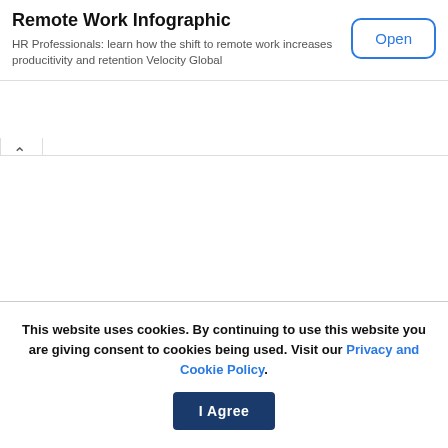Remote Work Infographic
HR Professionals: learn how the shift to remote work increases producitivity and retention Velocity Global
[Figure (other): Open button with blue rounded border]
[Figure (other): Collapse/chevron-up arrow tab button]
This website uses cookies. By continuing to use this website you are giving consent to cookies being used. Visit our Privacy and Cookie Policy.